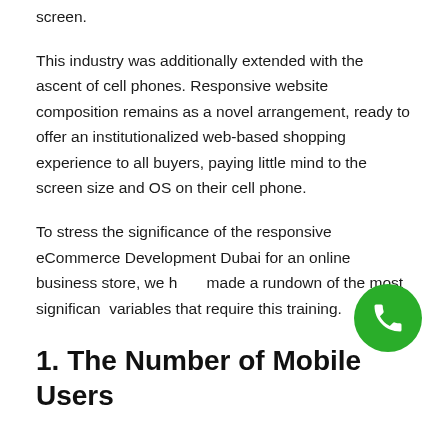screen.
This industry was additionally extended with the ascent of cell phones. Responsive website composition remains as a novel arrangement, ready to offer an institutionalized web-based shopping experience to all buyers, paying little mind to the screen size and OS on their cell phone.
To stress the significance of the responsive eCommerce Development Dubai for an online business store, we have made a rundown of the most significant variables that require this training.
1. The Number of Mobile Users